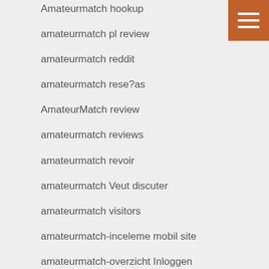Amateurmatch hookup
amateurmatch pl review
amateurmatch reddit
amateurmatch rese?as
AmateurMatch review
amateurmatch reviews
amateurmatch revoir
amateurmatch Veut discuter
amateurmatch visitors
amateurmatch-inceleme mobil site
amateurmatch-overzicht Inloggen
amateurmatch-overzicht online dating
america cash pay day loan